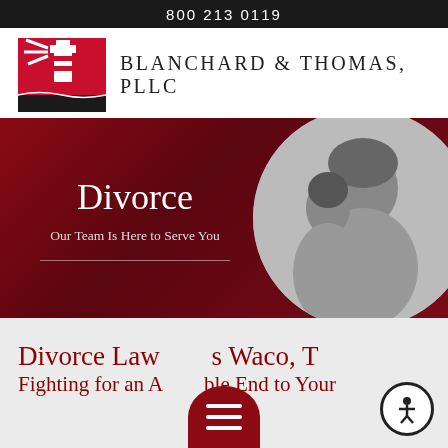800 213 0119
[Figure (logo): Blanchard & Thomas, PLLC law firm logo with lighthouse graphic in red, white and black]
Divorce
Our Team Is Here to Serve You
[Figure (photo): Grayscale circular photo of mother and daughter smiling together]
Divorce Lawyers Waco, TX
Fighting for an Amicable End to Your